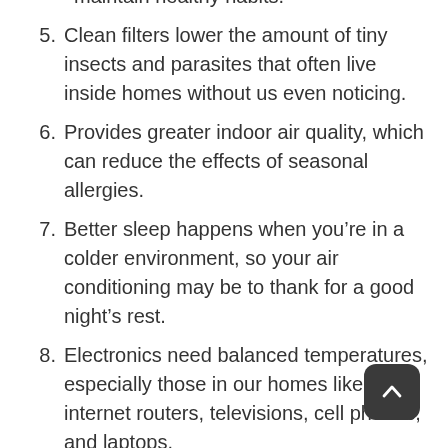maintain healthy habits.
5. Clean filters lower the amount of tiny insects and parasites that often live inside homes without us even noticing.
6. Provides greater indoor air quality, which can reduce the effects of seasonal allergies.
7. Better sleep happens when you’re in a colder environment, so your air conditioning may be to thank for a good night’s rest.
8. Electronics need balanced temperatures, especially those in our homes like internet routers, televisions, cell phones, and laptops.
9. Dehydration is a serious concern in the summer months, which air conditioning can greatly impact by keeping our bodies cool.